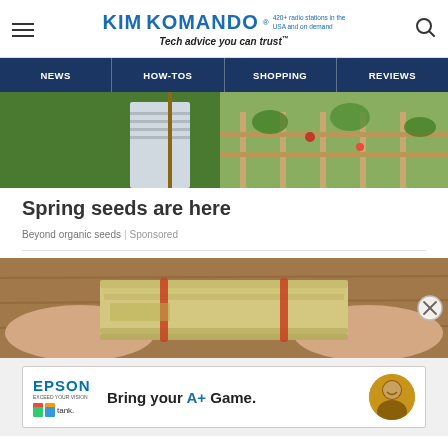KIMKOMANDO® 420+ radio stations in the USA and on demand — Tech advice you can trust™
NEWS | HOW-TOS | SHOPPING | REVIEWS
[Figure (photo): Person in striped shirt standing in a garden with corn and tomato plants]
Spring seeds are here
Beyond organic seeds | Sponsored
[Figure (photo): Hands holding a large bundle of US dollar bills bound with rubber bands]
[Figure (photo): Epson EcoTank advertisement: Bring your A+ Game.]